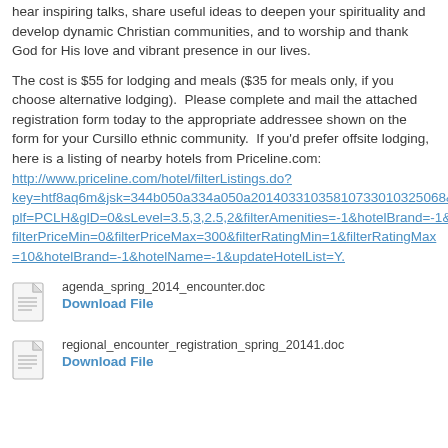hear inspiring talks, share useful ideas to deepen your spirituality and develop dynamic Christian communities, and to worship and thank God for His love and vibrant presence in our lives.
The cost is $55 for lodging and meals ($35 for meals only, if you choose alternative lodging). Please complete and mail the attached registration form today to the appropriate addressee shown on the form for your Cursillo ethnic community. If you'd prefer offsite lodging, here is a listing of nearby hotels from Priceline.com: http://www.priceline.com/hotel/filterListings.do?key=htf8aq6m&jsk=344b050a334a050a201403310358107330103250688&plf=PCLH&glD=0&sLevel=3.5,3,2.5,2&filterAmenities=-1&hotelBrand=-1&filterPriceMin=0&filterPriceMax=300&filterRatingMin=1&filterRatingMax=10&hotelBrand=-1&hotelName=-1&updateHotelList=Y.
[Figure (other): Document file icon for agenda_spring_2014_encounter.doc with Download File link]
[Figure (other): Document file icon for regional_encounter_registration_spring_20141.doc with Download File link]